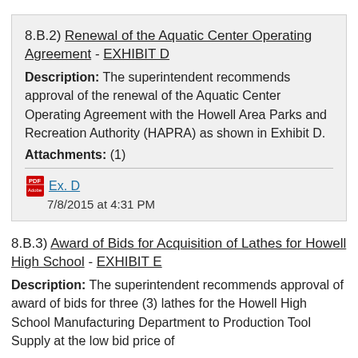8.B.2) Renewal of the Aquatic Center Operating Agreement - EXHIBIT D
Description: The superintendent recommends approval of the renewal of the Aquatic Center Operating Agreement with the Howell Area Parks and Recreation Authority (HAPRA) as shown in Exhibit D.
Attachments: (1)
Ex. D
7/8/2015 at 4:31 PM
8.B.3) Award of Bids for Acquisition of Lathes for Howell High School - EXHIBIT E
Description: The superintendent recommends approval of award of bids for three (3) lathes for the Howell High School Manufacturing Department to Production Tool Supply at the low bid price of